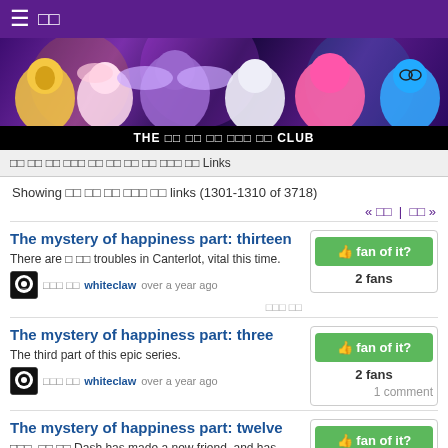≡ □□
[Figure (illustration): Banner image showing colorful My Little Pony characters (Applejack, Fluttershy, Twilight Sparkle, Rarity, Pinkie Pie, Rainbow Dash) on a dark purple background with lights]
THE □□ □□ □□ □□□ □□ CLUB
□□ □□ □□ □□□ □□ □□ □□ □□ □□□ □□ Links
Showing □□ □□ □□ □□□ □□ links (1301-1310 of 3718)
« □□ | □□ »
The mystery of happiness part: thirteen
There are □ □□ troubles in Canterlot, vital this time.
□□□ □□ whiteclaw over a year ago
□□□ □□
The mystery of happiness part: three
The third part of this epic series.
□□□ □□ whiteclaw over a year ago
1 comment
The mystery of happiness part: twelve
□□□, □□ □□ Dash has made a new friend, and has discovered a dark secret.
2 fans